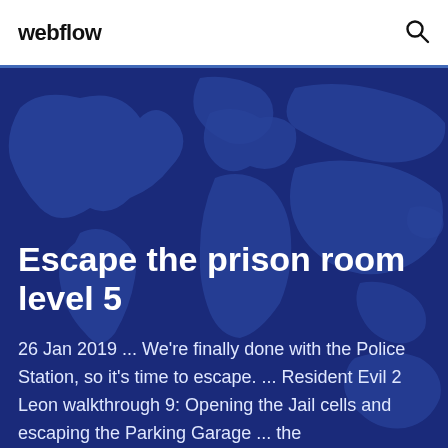webflow
Escape the prison room level 5
26 Jan 2019 ... We're finally done with the Police Station, so it's time to escape. ... Resident Evil 2 Leon walkthrough 9: Opening the Jail cells and escaping the Parking Garage ... the